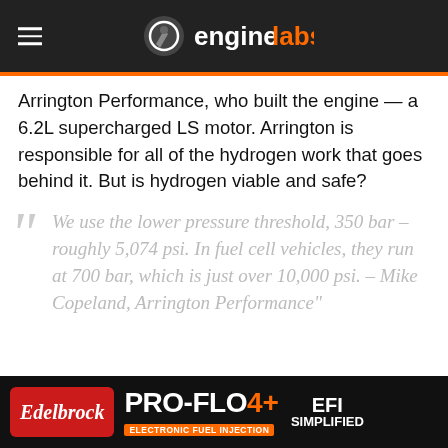enginelabs
Arrington Performance, who built the engine — a 6.2L supercharged LS motor. Arrington is responsible for all of the hydrogen work that goes behind it. But is hydrogen viable and safe?
“We use the lower pressure threshold, 350 bar – roughly 5,074 psi. In fuel cell vehicles, they run at 700 bar, which is just over 10,000 psi. – Mike Copeland, Arrington Performance”
[Figure (other): Edelbrock Pro-Flo 4+ Electronic Fuel Injection EFI Simplified advertisement banner]